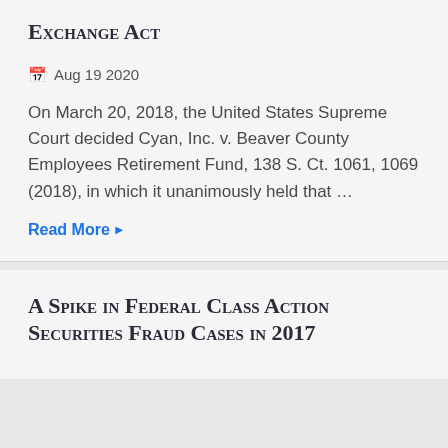Exchange Act
Aug 19 2020
On March 20, 2018, the United States Supreme Court decided Cyan, Inc. v. Beaver County Employees Retirement Fund, 138 S. Ct. 1061, 1069 (2018), in which it unanimously held that …
Read More
A Spike in Federal Class Action Securities Fraud Cases in 2017